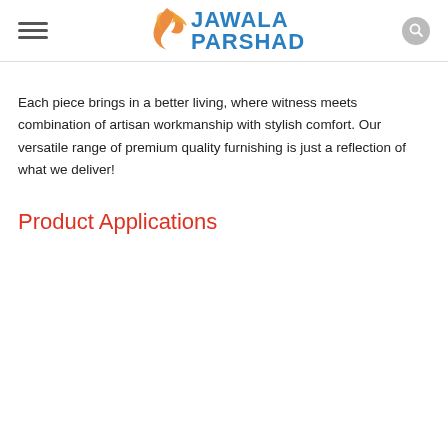Jawala Parshad
Each piece brings in a better living, where witness meets combination of artisan workmanship with stylish comfort. Our versatile range of premium quality furnishing is just a reflection of what we deliver!
Product Applications